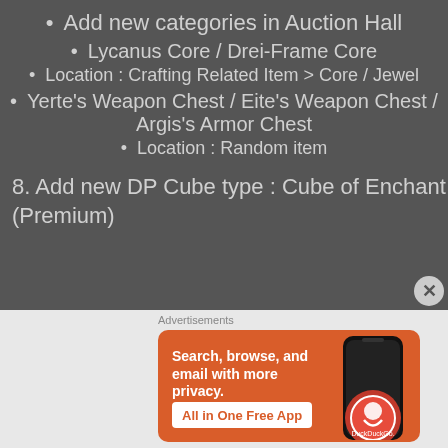Add new categories in Auction Hall
Lycanus Core / Drei-Frame Core
Location : Crafting Related Item > Core / Jewel
Yerte's Weapon Chest / Eite's Weapon Chest / Argis's Armor Chest
Location : Random item
8. Add new DP Cube type : Cube of Enchant (Premium)
[Figure (screenshot): DuckDuckGo advertisement banner with orange background. Text reads 'Search, browse, and email with more privacy. All in One Free App' with a phone illustration and DuckDuckGo logo.]